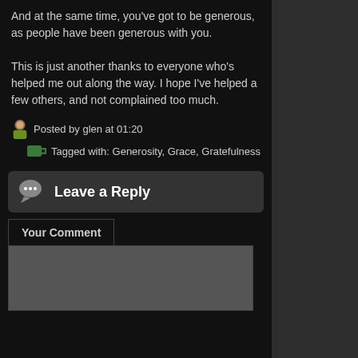And at the same time, you've got to be generous, as people have been generous with you.
This is just another thanks to everyone who's helped me out along the way. I hope I've helped a few others, and not complained too much.
Posted by glen at 01:20
Tagged with: Generosity, Grace, Gratefulness
Leave a Reply
Your Comment